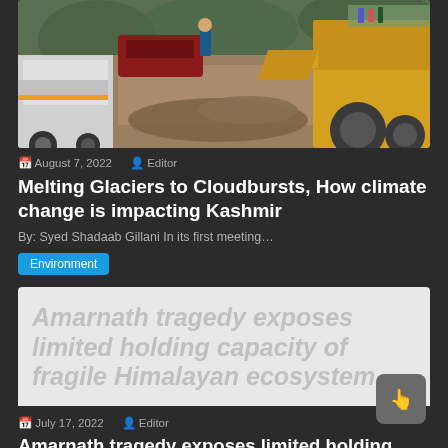[Figure (photo): Road construction scene with a white SUV on the left, a red car in background, a person in blue standing center, earthmoving bulldozer on the right, and muddy/rocky road debris.]
August 7, 2022  Editor
Melting Glaciers to Cloudbursts, How climate change is impacting Kashmir
By: Syed Shadaab Gillani In its first meeting…
Environment
[Figure (screenshot): Gray banner with large light-gray italic text: 'Amarnath tragedy exposes limited holding capacity of fragile Himalayan ecosystem']
July 17, 2022  Editor
Amarnath tragedy exposes limited holding capacity of fragile Himalayan ecosystem